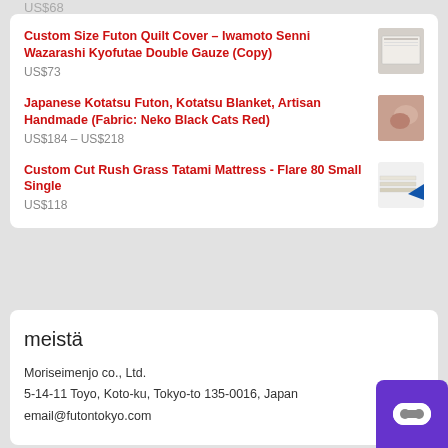US$68
Custom Size Futon Quilt Cover – Iwamoto Senni Wazarashi Kyofutae Double Gauze (Copy)
US$73
Japanese Kotatsu Futon, Kotatsu Blanket, Artisan Handmade (Fabric: Neko Black Cats Red)
US$184 – US$218
Custom Cut Rush Grass Tatami Mattress - Flare 80 Small Single
US$118
meistä
Moriseimenjo co., Ltd.
5-14-11 Toyo, Koto-ku, Tokyo-to 135-0016, Japan
email@futontokyo.com